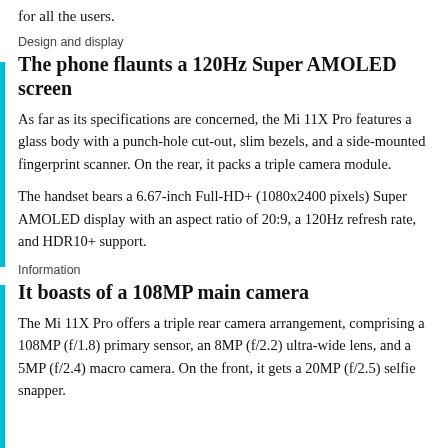for all the users.
Design and display
The phone flaunts a 120Hz Super AMOLED screen
As far as its specifications are concerned, the Mi 11X Pro features a glass body with a punch-hole cut-out, slim bezels, and a side-mounted fingerprint scanner. On the rear, it packs a triple camera module.
The handset bears a 6.67-inch Full-HD+ (1080x2400 pixels) Super AMOLED display with an aspect ratio of 20:9, a 120Hz refresh rate, and HDR10+ support.
Information
It boasts of a 108MP main camera
The Mi 11X Pro offers a triple rear camera arrangement, comprising a 108MP (f/1.8) primary sensor, an 8MP (f/2.2) ultra-wide lens, and a 5MP (f/2.4) macro camera. On the front, it gets a 20MP (f/2.5) selfie snapper.